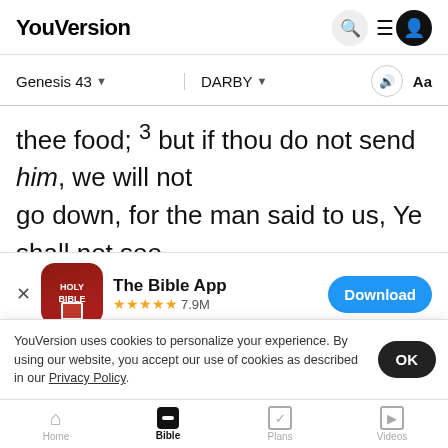YouVersion
Genesis 43   DARBY
thee food; 3 but if thou do not send him, we will not go down, for the man said to us, Ye shall not see my face, unless your brother be with you. 6 And
[Figure (screenshot): App download banner for The Bible App with Holy Bible icon, 5 stars, 7.9M ratings, and Download button]
an whether ye had yet a brother? And said, Th after ou
YouVersion uses cookies to personalize your experience. By using our website, you accept our use of cookies as described in our Privacy Policy.
Home   Bible   Plans   Videos